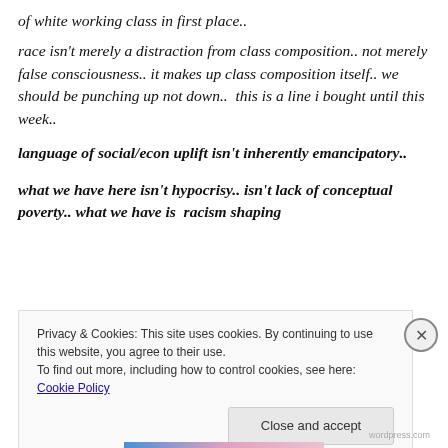of white working class in first place..
race isn't merely a distraction from class composition.. not merely false consciousness.. it makes up class composition itself.. we should be punching up not down..  this is a line i bought until this week..
language of social/econ uplift isn't inherently emancipatory..
what we have here isn't hypocrisy.. isn't lack of conceptual poverty.. what we have is  racism shaping
Privacy & Cookies: This site uses cookies. By continuing to use this website, you agree to their use.
To find out more, including how to control cookies, see here: Cookie Policy
Close and accept